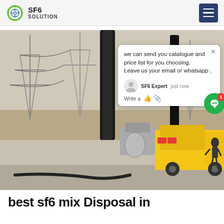SF6 SOLUTION
[Figure (photo): Outdoor electrical substation with high-voltage transmission lines and towers, a yellow service truck with SF6 gas handling equipment, and a worker on site. A chat popup overlay reads: 'we can send you catalogue and price list for you choosing. Leave us your email or whatsapp .' with SF6 Expert label and 'just now' timestamp.]
best sf6 mix Disposal in